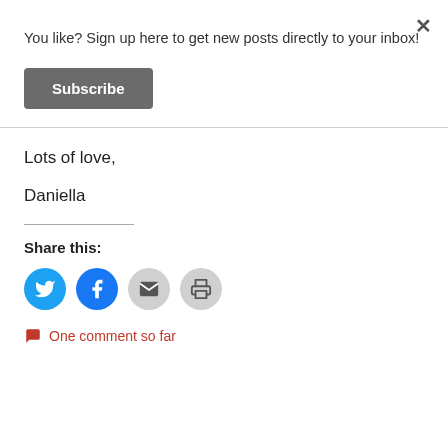You like? Sign up here to get new posts directly to your inbox!
Subscribe
Lots of love,
Daniella
Share this:
One comment so far